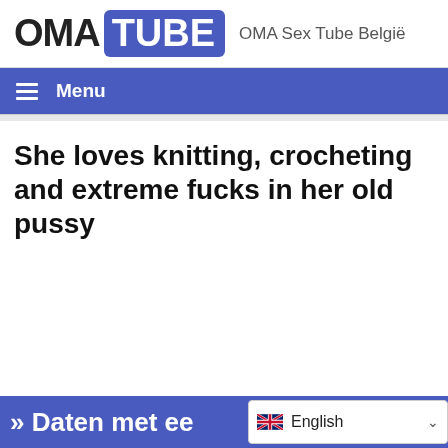OMA TUBE OMA Sex Tube België
Menu
She loves knitting, crocheting and extreme fucks in her old pussy
» Daten met ee
English